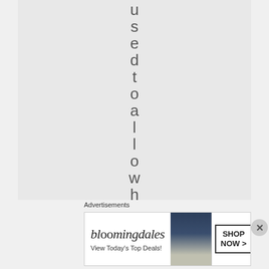u s e d t o a l l o w h i
Advertisements
[Figure (illustration): Bloomingdales advertisement banner showing logo, 'View Today's Top Deals!' tagline, a woman wearing a large navy hat, and a 'SHOP NOW >' call-to-action button]